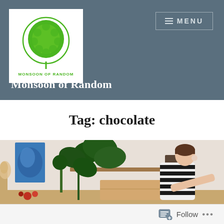Monsoon of Random — MENU
Monsoon of Random
Tag: chocolate
[Figure (photo): Woman in black and white striped shirt leaning over a table with plants and artwork in the background]
Follow ...